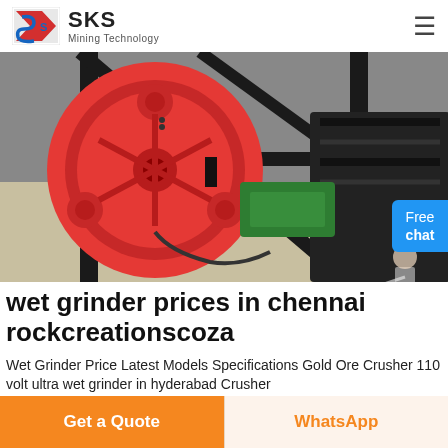SKS Mining Technology
[Figure (photo): Close-up photo of industrial mining machinery showing a large red pulley wheel and black belt drive mechanism in a factory setting]
wet grinder prices in chennai rockcreationscoza
Wet Grinder Price Latest Models Specifications Gold Ore Crusher 110 volt ultra wet grinder in hyderabad Crusher
Get a Quote | WhatsApp